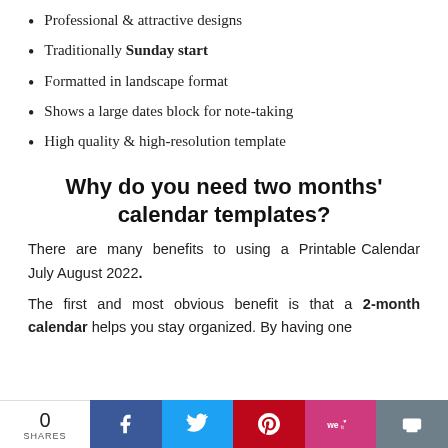Professional & attractive designs
Traditionally Sunday start
Formatted in landscape format
Shows a large dates block for note-taking
High quality & high-resolution template
Why do you need two months' calendar templates?
There are many benefits to using a Printable Calendar July August 2022.
The first and most obvious benefit is that a 2-month calendar helps you stay organized. By having one
0 SHARES | Facebook | Twitter | Pinterest | We Heart It | Print